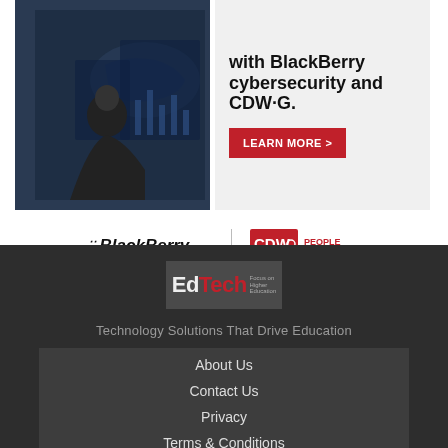[Figure (photo): Advertisement banner: person sitting at computer monitors showing world map, dark background. Text reads 'with BlackBerry cybersecurity and CDW·G.' with a red LEARN MORE button. BlackBerry Cybersecurity and CDW·G People Who Get It logos shown below.]
[Figure (logo): EdTech magazine logo on dark grey background]
Technology Solutions That Drive Education
About Us
Contact Us
Privacy
Terms & Conditions
Site Map